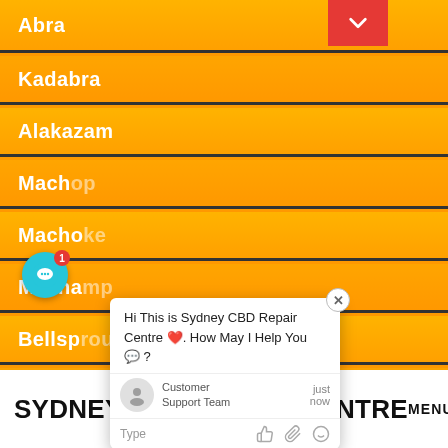Abra
Kadabra
Alakazam
Machop
Machoke
Machamp
Bellsprout
Weepinbell
Victreebel
[Figure (screenshot): Chat popup overlay showing 'Hi This is Sydney CBD Repair Centre ❤️. How May I Help You 💬?' from Customer Support Team, with Type input bar and emoji icons at bottom]
SYDNEY CBD REPAIR CENTRE
MENU ≡